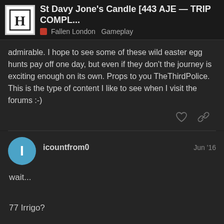St Davy Jone's Candle [443 AJE — TRIP COMPL... | Fallen London | Gameplay
admirable. I hope to see some of these wild easter egg hunts pay off one day, but even if they don't the journey is exciting enough on its own. Props to you TheThirdPolice. This is the type of content I like to see when I visit the forums :-)
icountfrom0   Jun '16
wait...

77 Irrigo?

how?
10 / 93